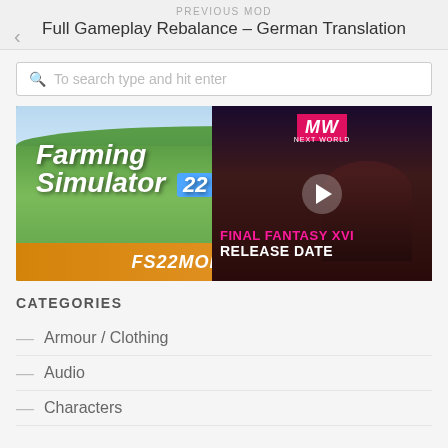PREVIOUS MOD
Full Gameplay Rebalance – German Translation
To search type and hit enter
[Figure (screenshot): Farming Simulator 22 advertisement banner with FS22MODHUB.COM text and a red tractor in a green landscape]
[Figure (screenshot): Final Fantasy XVI Release Date video thumbnail with MW logo and pink/magenta text overlay]
CATEGORIES
Armour / Clothing
Audio
Characters